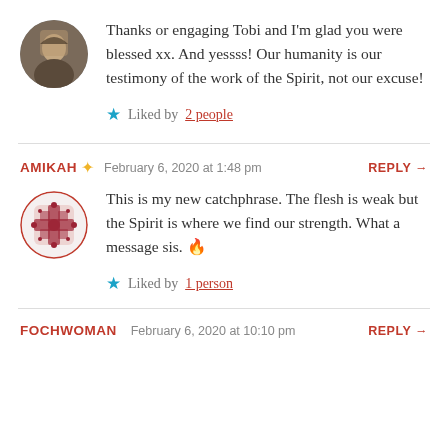Thanks or engaging Tobi and I'm glad you were blessed xx. And yessss! Our humanity is our testimony of the work of the Spirit, not our excuse!
Liked by 2 people
AMIKAH ✦  February 6, 2020 at 1:48 pm   REPLY →
This is my new catchphrase. The flesh is weak but the Spirit is where we find our strength. What a message sis. 🔥
Liked by 1 person
FOCHWOMAN   February 6, 2020 at 10:10 pm   REPLY →